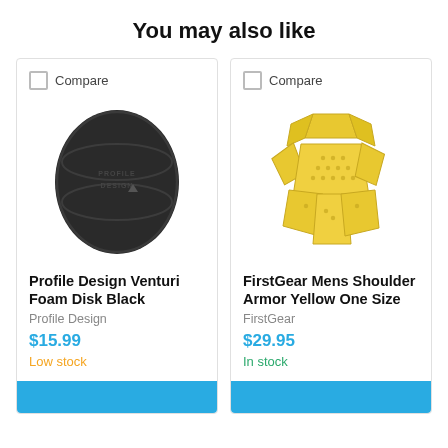You may also like
[Figure (photo): Black oval foam disk with Profile Design logo embossed on surface]
Profile Design Venturi Foam Disk Black
Profile Design
$15.99
Low stock
[Figure (photo): Yellow segmented shoulder armor pad with ventilation holes]
FirstGear Mens Shoulder Armor Yellow One Size
FirstGear
$29.95
In stock